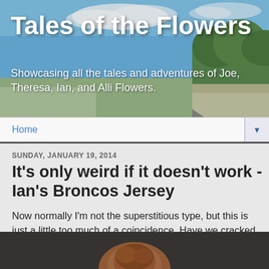[Figure (photo): Header banner showing a road and landscape under a blue sky with clouds and green trees]
Tales of the Flowers
Showcasing all the tales and adventures of Joe, Theresa, Ian, and Alli Flowers.
Home
SUNDAY, JANUARY 19, 2014
It's only weird if it doesn't work - Ian's Broncos Jersey
Now normally I'm not the superstitious type, but this is just a little too much of a coincidence. Have we cracked the code? Does Ian really hold the power to determine the winner of every Broncos game?
[Figure (photo): Partial photo of a person at the bottom of the page, cropped]